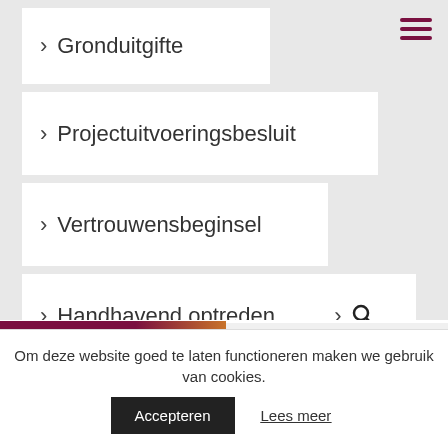> Gronduitgifte
> Projectuitvoeringsbesluit
> Vertrouwensbeginsel
> Handhavend optreden
[Figure (screenshot): Search icon button with chevron]
[Figure (photo): Partial thumbnail with purple/maroon header reading 'Bestuurlijk vastgoed' and wood/orange texture]
Om deze website goed te laten functioneren maken we gebruik van cookies.
Accepteren
Lees meer